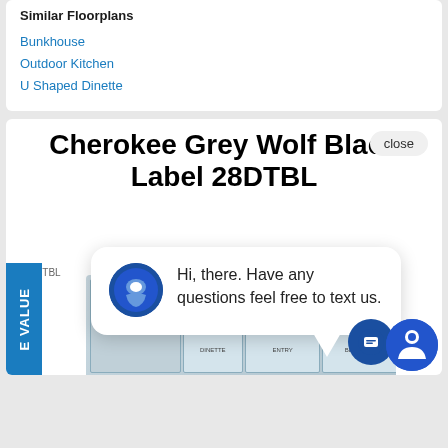Similar Floorplans
Bunkhouse
Outdoor Kitchen
U Shaped Dinette
Cherokee Grey Wolf Black Label 28DTBL
close
28DTBL
[Figure (screenshot): Chat popup with dealership logo avatar and text: Hi, there. Have any questions feel free to text us.]
[Figure (engineering-diagram): Floorplan diagram for 28DTBL model showing room layout]
E VALUE
[Figure (other): Accessibility icons: chat bubble and person in circle]